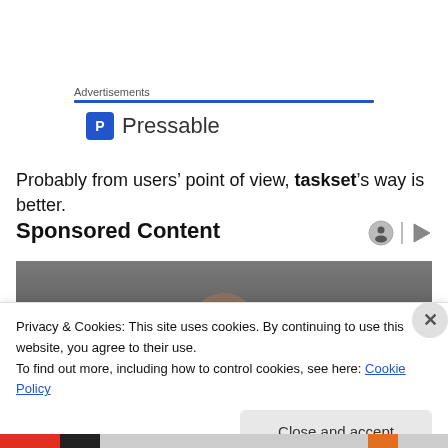Advertisements
[Figure (logo): Pressable logo with blue P icon and text]
Probably from users’ point of view, taskset’s way is better.
Sponsored Content
[Figure (photo): Dark background photo with top of a person's head visible]
Privacy & Cookies: This site uses cookies. By continuing to use this website, you agree to their use.
To find out more, including how to control cookies, see here: Cookie Policy
Close and accept